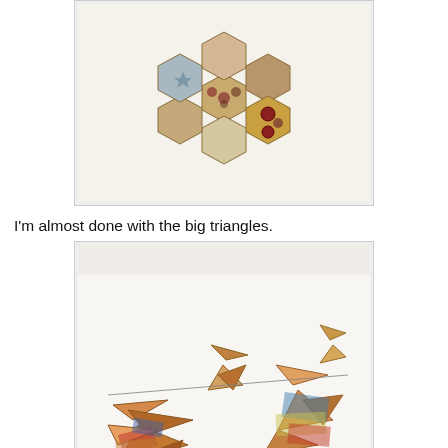[Figure (photo): Close-up photo of hexagonal fabric quilt pieces in cream, floral, and earthy tones arranged in a star/flower pattern on a white background.]
I'm almost done with the big triangles.
[Figure (photo): Photo of multiple stacks of folded fabric triangles in colorful patterns (red, brown, blue, gold) connected by a thin line/string on a white surface.]
On the Homefront:  poor coco has had a few hard slip and falls on our long stairs so I got these individual runners.  An